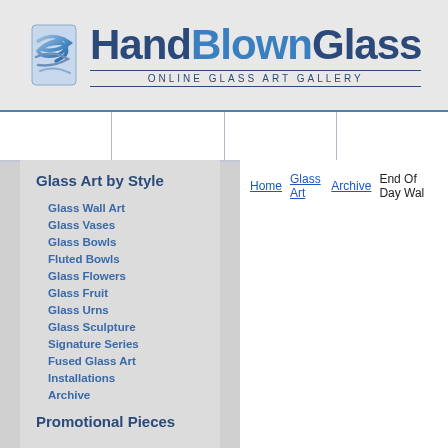[Figure (logo): HandBlownGlass Online Glass Art Gallery logo with blue glass swirl icon and blue text]
Navigation bar with menu cells
Glass Art by Style
Glass Wall Art
Glass Vases
Glass Bowls
Fluted Bowls
Glass Flowers
Glass Fruit
Glass Urns
Glass Sculpture
Signature Series
Fused Glass Art
Installations
Archive
Promotional Pieces
Home  Glass Art  Archive  End Of Day Wal